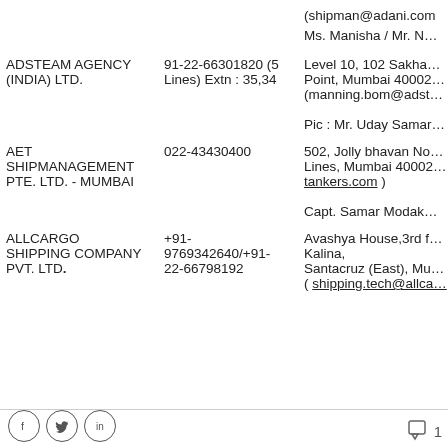| Company | Phone | Address/Contact |
| --- | --- | --- |
|  |  | (shipman@adani.com
Ms. Manisha / Mr. N… |
| ADSTEAM AGENCY (INDIA) LTD. | 91-22-66301820 (5 Lines) Extn : 35,34 | Level 10, 102 Sakha… Point, Mumbai 40002… (manning.bom@adst…
Pic : Mr. Uday Samar… |
| AET SHIPMANAGEMENT PTE. LTD. - MUMBAI | 022-43430400 | 502, Jolly bhavan No… Lines, Mumbai 40002… tankers.com )
Capt. Samar Modak… |
| ALLCARGO SHIPPING COMPANY PVT. LTD. | +91-9769342640/+91-22-66798192 | Avashya House,3rd f… Kalina, Santacruz (East), Mu… ( shipping.tech@allca… |
Social icons (Facebook, Twitter, LinkedIn) | Comment icon | 1